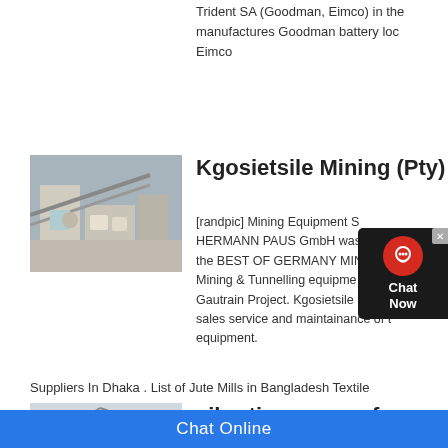Trident SA (Goodman, Eimco) in the manufactures Goodman battery loc Eimco
Kgosietsile Mining (Pty)
[Figure (photo): Industrial mining equipment, conveyors and machinery]
[randpic] Mining Equipment S HERMANN PAUS GmbH was the BEST OF GERMANY MIN Mining & Tunnelling equipme Gautrain Project. Kgosietsile Mining sales service and maintainance of t equipment.
Suppliers In Dhaka . List of Jute Mills in Bangladesh Textile
vibrating screen for sale
[Figure (photo): Outdoor mining or construction equipment scene]
vibrating screen for sale in russia. v
Chat Online